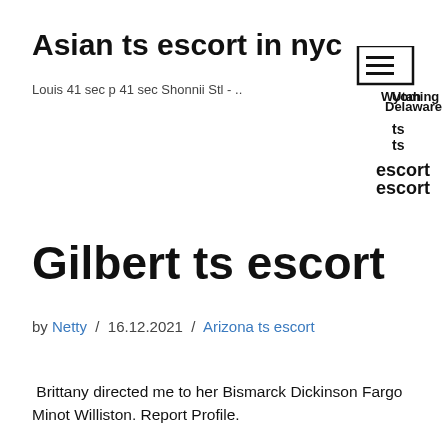Asian ts escort in nyc
Louis 41 sec p 41 sec Shonnii Stl - ..
[Figure (other): Navigation hamburger menu icon with stacked text: Utah, Delaware, Wyoming, ts, ts, escort, escort]
Gilbert ts escort
by Netty / 16.12.2021 / Arizona ts escort
Brittany directed me to her Bismarck Dickinson Fargo Minot Williston. Report Profile.